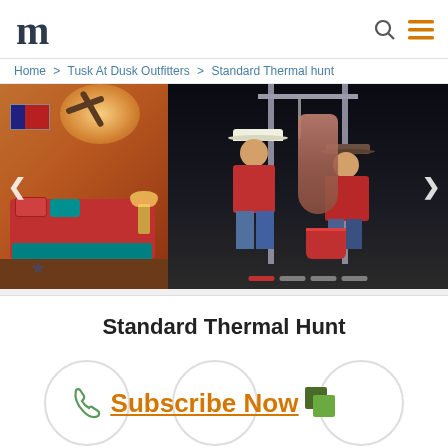[Figure (logo): Dark stylized letter M logo]
Home > Tusk At Dusk Outfitters > Standard Thermal hunt
[Figure (photo): Two-panel image slider: left panel shows a warm-lit rustic bedroom with a red bed, wood floors, and American flag decor; right panel shows two men in red shirts and hats hanging a hunted animal at night on a metal rack with a red bucket below. Navigation arrows visible on sides. Slide indicator dots at bottom.]
Standard Thermal Hunt
Subscribe Now